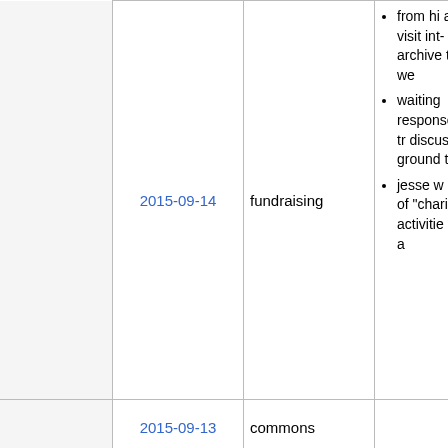|  | Date | Category | Notes |
| --- | --- | --- | --- |
|  | 2015-09-14 | fundraising | from hi... a month... visit int... archive... this we...
• waiting response... land tr... discuss... ground... terms.
• jesse w... draft of... "charita... activitie... 501c3 a... |
|  | 2015-09-13 | commons |  |
|  | 2015-09-10 | delegates | • Omni w... partner... |